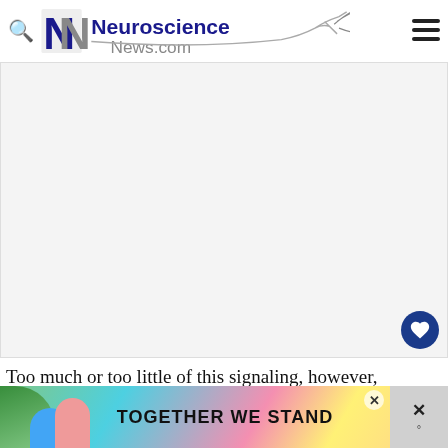Neuroscience News.com
[Figure (photo): Large blank/white rectangular image area, part of a neuroscience news article]
Too much or too little of this signaling, however, can cause problems, Rutishauser said.
[Figure (other): Advertisement banner reading TOGETHER WE STAND with colorful background]